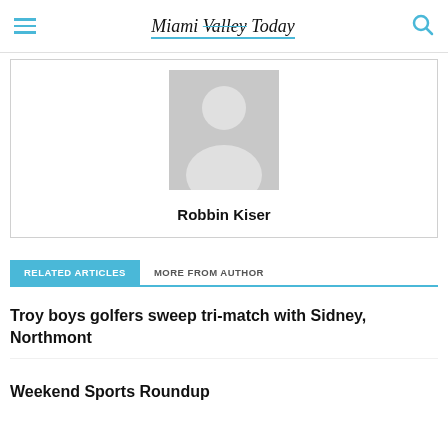Miami Valley Today
[Figure (photo): Default author avatar placeholder image — grey silhouette of a person on grey background]
Robbin Kiser
RELATED ARTICLES   MORE FROM AUTHOR
Troy boys golfers sweep tri-match with Sidney, Northmont
Weekend Sports Roundup